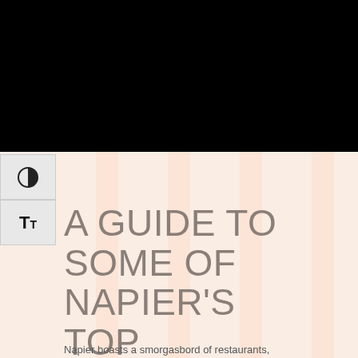[Figure (photo): Black header image area at the top of the page]
[Figure (other): UI accessibility buttons: contrast toggle and text size toggle]
A GUIDE TO SOME OF NAPIER'S TOP RESTAURANTS & CAFÉS
Napier boasts a smorgasbord of restaurants,